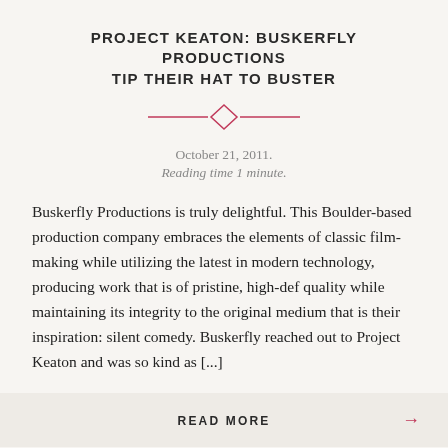PROJECT KEATON: BUSKERFLY PRODUCTIONS TIP THEIR HAT TO BUSTER
October 21, 2011.
Reading time 1 minute.
Buskerfly Productions is truly delightful. This Boulder-based production company embraces the elements of classic film-making while utilizing the latest in modern technology, producing work that is of pristine, high-def quality while maintaining its integrity to the original medium that is their inspiration: silent comedy. Buskerfly reached out to Project Keaton and was so kind as [...]
READ MORE →